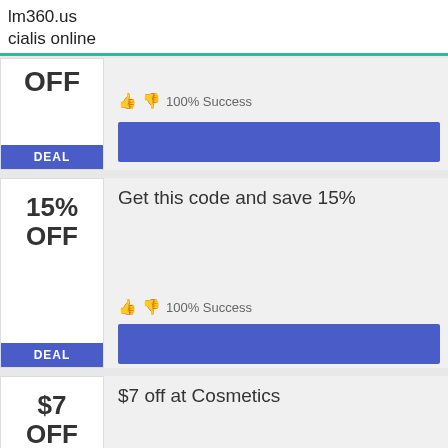lm360.us
cialis online
[Figure (other): Coupon deal card (partial): OFF label, DEAL button, 100% Success badge, blue button placeholder]
[Figure (other): Coupon deal card: 15% OFF, Get this code and save 15%, 100% Success, DEAL button, blue button placeholder]
[Figure (other): Coupon deal card: $7 OFF, $7 off at Cosmetics, 100% Success, DEAL button, GET DEAL button]
. . . northern ireland civil service's 'hands tied' over